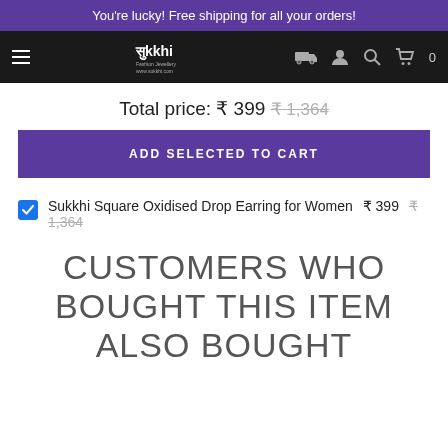You're lucky! Free shipping for all your orders!
[Figure (screenshot): Navigation bar with hamburger menu, Sukkhi logo, truck icon, user icon, search icon, and cart with 0 items]
Total price: ₹ 399  ₹ 1,364
ADD SELECTED TO CART
Sukkhi Square Oxidised Drop Earring for Women  ₹ 399  ₹ 1,364
CUSTOMERS WHO BOUGHT THIS ITEM ALSO BOUGHT